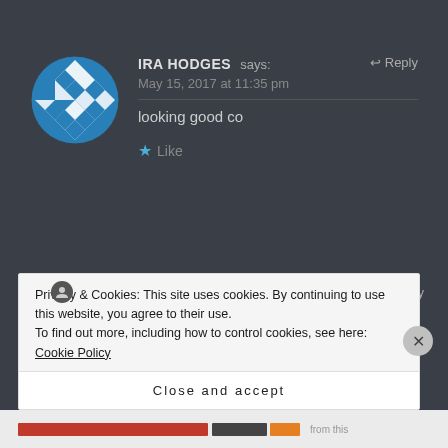[Figure (screenshot): User comment section from a blog/website with dark background showing two comments and a cookie consent banner overlay]
IRA HODGES says: May 15, 2017 at 11:35 pm
looking good co
★ Like
COOKING WITH JACQUE ROSE says: May 15, 2017 at 11:38 pm
Privacy & Cookies: This site uses cookies. By continuing to use this website, you agree to their use.
To find out more, including how to control cookies, see here: Cookie Policy
Close and accept